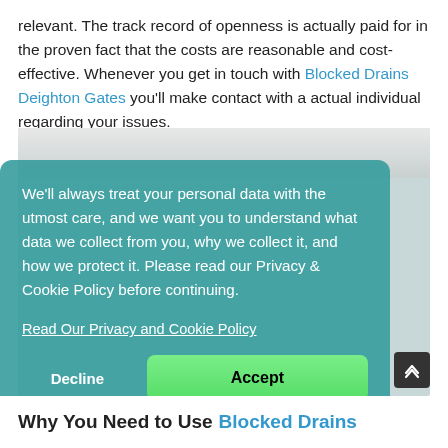relevant. The track record of openness is actually paid for in the proven fact that the costs are reasonable and cost-effective. Whenever you get in touch with Blocked Drains Deighton Gates you'll make contact with a actual individual regarding your issues.
[Figure (photo): A photo of a faucet/plumbing fixture, partially obscured by the cookie consent overlay]
We'll always treat your personal data with the utmost care, and we want you to understand what data we collect from you, why we collect it, and how we protect it. Please read our Privacy & Cookie Policy before continuing.
Read Our Privacy and Cookie Policy
Decline
Accept
Why You Need to Use Blocked Drains...